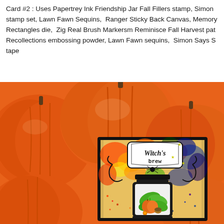Card #2 : Uses Papertrey Ink Friendship Jar Fall Fillers stamp, Simon stamp set, Lawn Fawn Sequins,  Ranger Sticky Back Canvas, Memory Rectangles die,  Zig Real Brush Markersm Reminisce Fall Harvest pat Recollections embossing powder, Lawn Fawn sequins,  Simon Says S tape
[Figure (photo): A handmade Halloween card featuring a black mason jar die-cut with 'Witch's brew' label, containing pumpkin and leaf imagery, set against a colorful mixed-media background. The card is displayed on a background of orange pumpkins.]